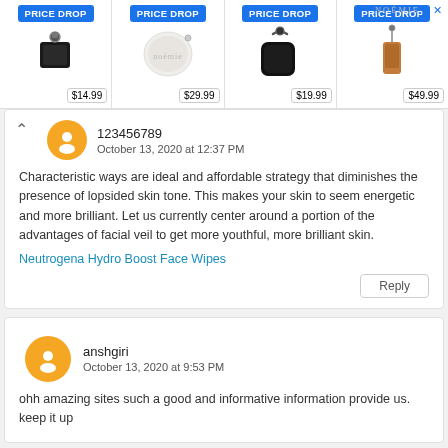[Figure (screenshot): Ad banner with four product items each showing PRICE DROP badge and price. Items: key fob $14.99, round coin purse $29.99, black AirPods case $19.99, phone lanyard case $49.99. NOÉMIE branding top right.]
123456789
October 13, 2020 at 12:37 PM

Characteristic ways are ideal and affordable strategy that diminishes the presence of lopsided skin tone. This makes your skin to seem energetic and more brilliant. Let us currently center around a portion of the advantages of facial veil to get more youthful, more brilliant skin.
Neutrogena Hydro Boost Face Wipes
Reply
anshgiri
October 13, 2020 at 9:53 PM

ohh amazing sites such a good and informative information provide us. keep it up